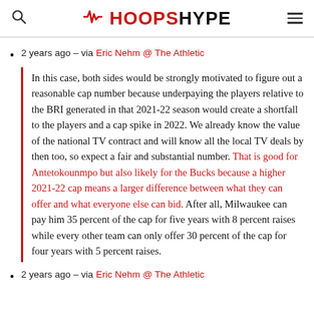HOOPSHYPE
2 years ago – via Eric Nehm @ The Athletic
In this case, both sides would be strongly motivated to figure out a reasonable cap number because underpaying the players relative to the BRI generated in that 2021-22 season would create a shortfall to the players and a cap spike in 2022. We already know the value of the national TV contract and will know all the local TV deals by then too, so expect a fair and substantial number. That is good for Antetokounmpo but also likely for the Bucks because a higher 2021-22 cap means a larger difference between what they can offer and what everyone else can bid. After all, Milwaukee can pay him 35 percent of the cap for five years with 8 percent raises while every other team can only offer 30 percent of the cap for four years with 5 percent raises.
2 years ago – via Eric Nehm @ The Athletic